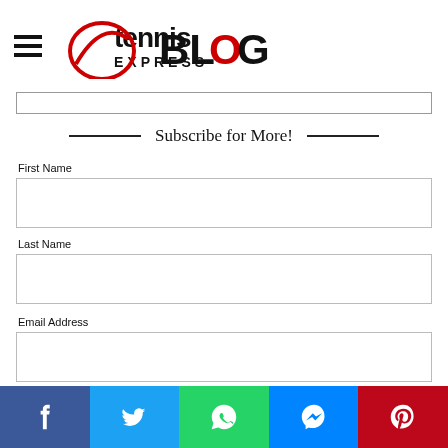Tennis Express BLOG
Subscribe for More!
First Name
Last Name
Email Address
[Figure (infographic): Social sharing bar with Facebook, Twitter, WhatsApp, Messenger, and Pinterest buttons]